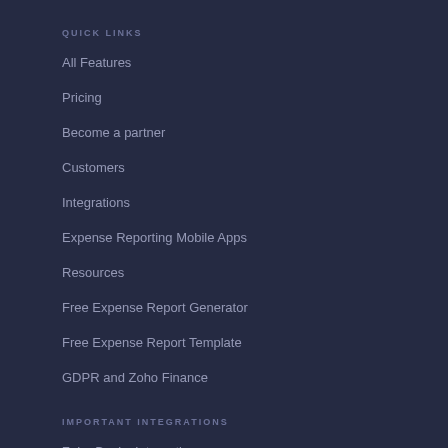QUICK LINKS
All Features
Pricing
Become a partner
Customers
Integrations
Expense Reporting Mobile Apps
Resources
Free Expense Report Generator
Free Expense Report Template
GDPR and Zoho Finance
IMPORTANT INTEGRATIONS
Zoho Books Integration
Zoho CRM Integration
Zoho People Integration